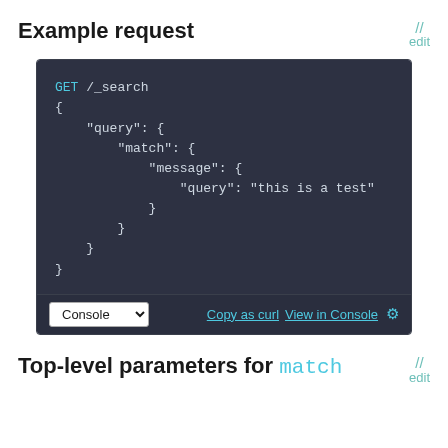Example request
[Figure (screenshot): Code block showing a GET /_search request with JSON body: query > match > message > query: 'this is a test'. Footer has Console dropdown, Copy as curl, View in Console links.]
Top-level parameters for match